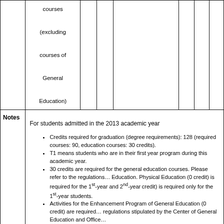| courses (excluding courses of General Education) |  |  |  |  |  |  |
| --- | --- | --- | --- | --- | --- | --- |
| Notes | For students admitted in the 2013 academic year
※ Credits required for graduation (degree requirements): 128 (required courses: 90, education courses: 30 credits).
※ T1 means students who are in their first year program during this academic year.
※ 30 credits are required for the general education courses. Please refer to the regulations... Physical Education (0 credit) is required for the 1st-year and 2nd-year... credit) is required only for the 1st-year students.
※ Activities for the Enhancement Program of General Education (0 credit) are required... regulations stipulated by the Center of General Education and Office...
※ Elective courses: All the courses taught by other departments are approved as elective... course title, scheduled time, the number of credits, and get approved... |